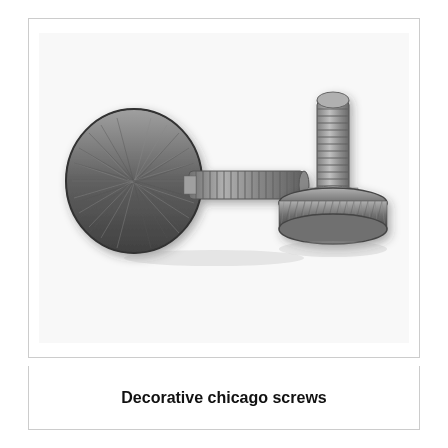[Figure (photo): Two decorative chicago screws (thumb screws) with knurled heads photographed on white background. Left screw is lying on its side showing the threaded shaft and wide knurled disc head. Right screw is standing upright showing the threaded shaft on top and knurled disc head on bottom.]
Decorative chicago screws